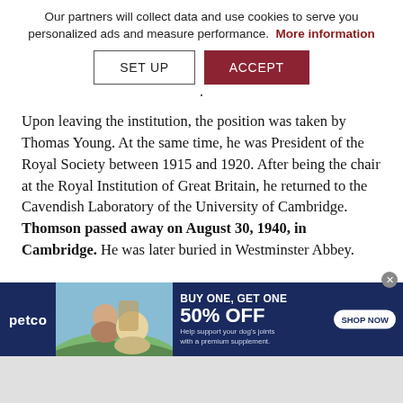Our partners will collect data and use cookies to serve you personalized ads and measure performance. More information
[Figure (screenshot): Cookie consent banner with SET UP and ACCEPT buttons]
Upon leaving the institution, the position was taken by Thomas Young. At the same time, he was President of the Royal Society between 1915 and 1920. After being the chair at the Royal Institution of Great Britain, he returned to the Cavendish Laboratory of the University of Cambridge. Thomson passed away on August 30, 1940, in Cambridge. He was later buried in Westminster Abbey.
[Figure (screenshot): Petco advertisement banner: BUY ONE, GET ONE 50% OFF - Help support your dog's joints with a premium supplement. SHOP NOW button.]